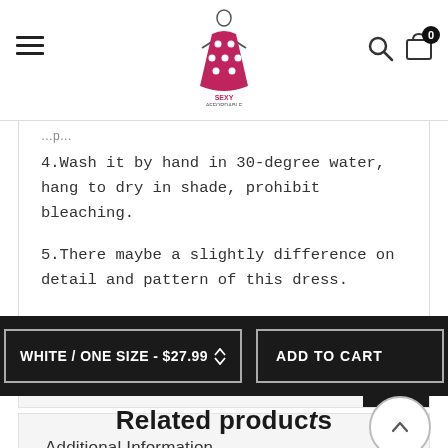Sexy Affordable — navigation header with logo, hamburger menu, search and cart icons
4.Wash it by hand in 30-degree water, hang to dry in shade, prohibit bleaching.
5.There maybe a slightly difference on detail and pattern of this dress.
Reviews
Additional Information
WHITE / ONE SIZE - $27.99
ADD TO CART
Related produc…